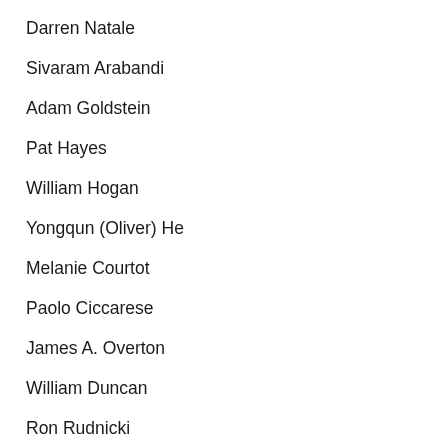Darren Natale
Sivaram Arabandi
Adam Goldstein
Pat Hayes
William Hogan
Yongqun (Oliver) He
Melanie Courtot
Paolo Ciccarese
James A. Overton
William Duncan
Ron Rudnicki